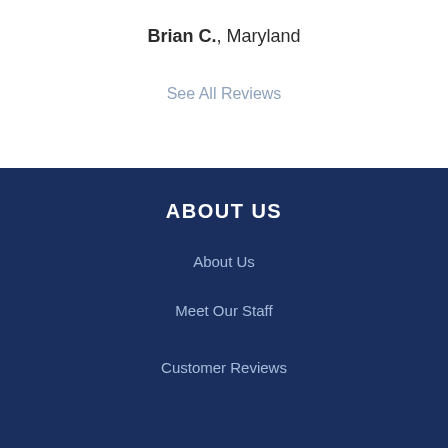Brian C., Maryland
See All Reviews
ABOUT US
About Us
Meet Our Staff
Customer Reviews